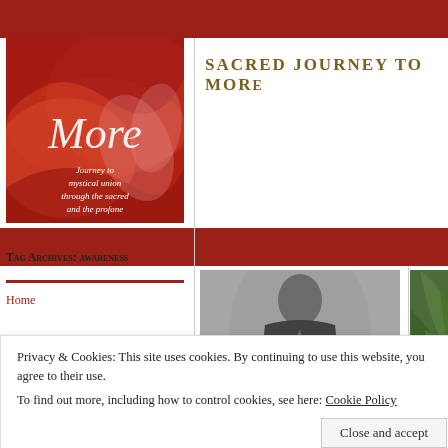Sacred Journey to More
[Figure (illustration): Book cover for 'More: Journey to mystical union through the sacred and the profane' — red abstract background with cursive white text]
Tag Archives: awareness
Home
[Figure (photo): Black and white photo of a woman in a black outfit, seated, looking at camera]
[Figure (photo): Partial photo of green leaves/plant, right edge of page]
Slipping into something more comfortable – a
The Se…
Privacy & Cookies: This site uses cookies. By continuing to use this website, you agree to their use.
To find out more, including how to control cookies, see here: Cookie Policy
Close and accept
About Mariah McKenzie and